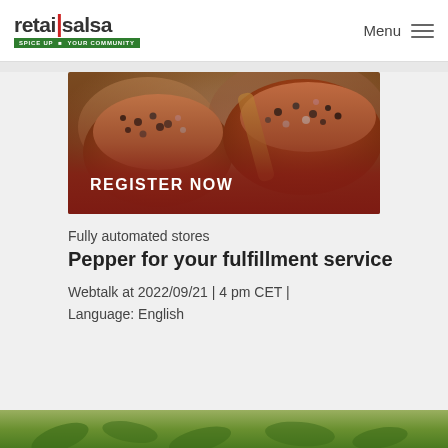retailsalsa — SPICE UP YOUR COMMUNITY | Menu
[Figure (photo): Hero banner image with spice bowls containing mixed peppercorns, with a dark red overlay and 'REGISTER NOW' text button at bottom left]
Fully automated stores
Pepper for your fulfillment service
Webtalk at 2022/09/21 | 4 pm CET | Language: English
[Figure (photo): Partial bottom image showing green herbs/vegetables, cropped at page edge]